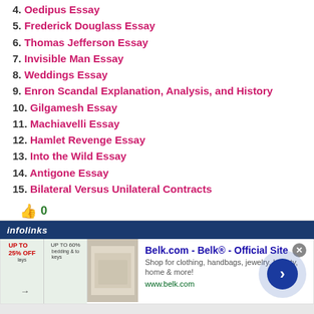4. Oedipus Essay
5. Frederick Douglass Essay
6. Thomas Jefferson Essay
7. Invisible Man Essay
8. Weddings Essay
9. Enron Scandal Explanation, Analysis, and History
10. Gilgamesh Essay
11. Machiavelli Essay
12. Hamlet Revenge Essay
13. Into the Wild Essay
14. Antigone Essay
15. Bilateral Versus Unilateral Contracts
👍 0
[Figure (screenshot): Infolinks advertisement banner for Belk.com showing promotional content with store image, text 'Belk.com - Belk® - Official Site', description 'Shop for clothing, handbags, jewelry, beauty, home & more!', URL www.belk.com, and a navigation arrow button.]